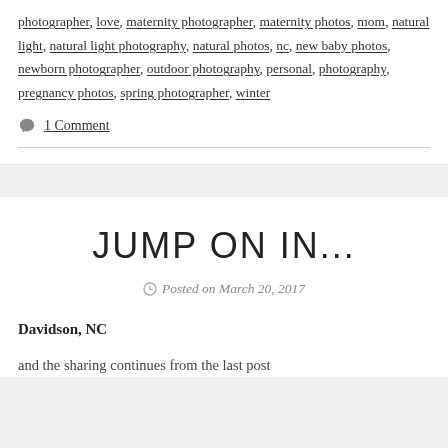photographer, love, maternity photographer, maternity photos, mom, natural light, natural light photography, natural photos, nc, new baby photos, newborn photographer, outdoor photography, personal, photography, pregnancy photos, spring photographer, winter
1 Comment
JUMP ON IN...
Posted on March 20, 2017
Davidson, NC
and the sharing continues from the last post